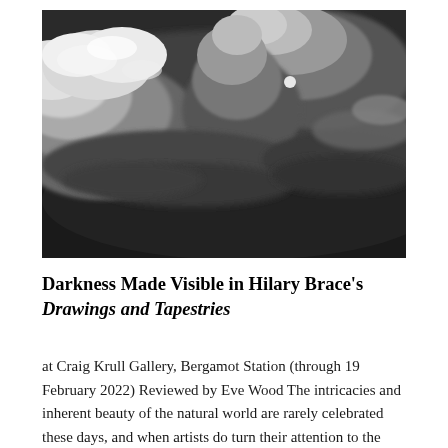[Figure (photo): Black and white photograph of dramatic cloudscape with turbulent storm clouds billowing over a dark ocean or landscape, shot from aerial perspective]
Darkness Made Visible in Hilary Brace's Drawings and Tapestries
at Craig Krull Gallery, Bergamot Station (through 19 February 2022) Reviewed by Eve Wood The intricacies and inherent beauty of the natural world are rarely celebrated these days, and when artists do turn their attention to the surrounding landscape, the resulting images are usually ones